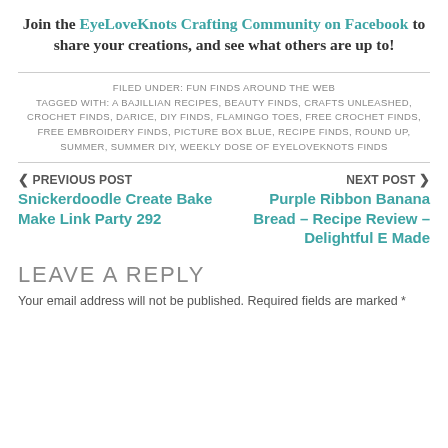Join the EyeLoveKnots Crafting Community on Facebook to share your creations, and see what others are up to!
FILED UNDER: FUN FINDS AROUND THE WEB
TAGGED WITH: A BAJILLIAN RECIPES, BEAUTY FINDS, CRAFTS UNLEASHED, CROCHET FINDS, DARICE, DIY FINDS, FLAMINGO TOES, FREE CROCHET FINDS, FREE EMBROIDERY FINDS, PICTURE BOX BLUE, RECIPE FINDS, ROUND UP, SUMMER, SUMMER DIY, WEEKLY DOSE OF EYELOVEKNOTS FINDS
‹ PREVIOUS POST
Snickerdoodle Create Bake Make Link Party 292
NEXT POST ›
Purple Ribbon Banana Bread – Recipe Review – Delightful E Made
LEAVE A REPLY
Your email address will not be published. Required fields are marked *